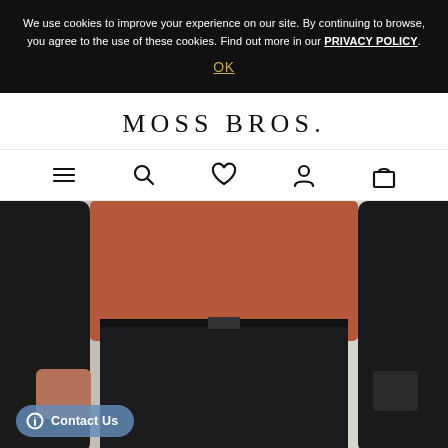We use cookies to improve your experience on our site. By continuing to browse, you agree to the use of these cookies. Find out more in our PRIVACY POLICY.
OK
MOSS BROS.
[Figure (screenshot): Navigation icons: hamburger menu, search, heart/wishlist, account, shopping bag]
[Figure (photo): Man wearing black blazer, rust/terracotta sweater, and dark trousers with hands in pockets, against a light background]
Contact Us